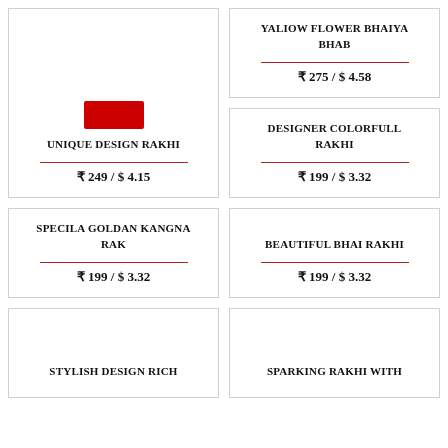UNIQUE DESIGN RAKHI
₹ 249 / $ 4.15
YALIOW FLOWER BHAIYA BHAB
₹ 275 / $ 4.58
DESIGNER COLORFULL RAKHI
₹ 199 / $ 3.32
SPECILA GOLDAN KANGNA RAK
₹ 199 / $ 3.32
BEAUTIFUL BHAI RAKHI
₹ 199 / $ 3.32
STYLISH DESIGN RICH
SPARKING RAKHI WITH